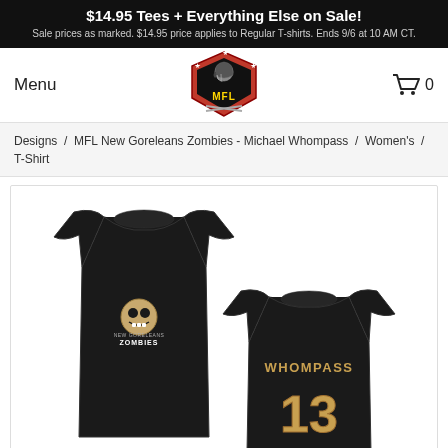$14.95 Tees + Everything Else on Sale! Sale prices as marked. $14.95 price applies to Regular T-shirts. Ends 9/6 at 10 AM CT.
Menu
[Figure (logo): MFL (Monster Football League) logo — skull with football helmet, red shield with stars, gold letters MFL]
0
Designs / MFL New Goreleans Zombies - Michael Whompass / Women's / T-Shirt
[Figure (photo): Black women's t-shirt shown front and back. Front shows a zombie/monster logo with text ZOMBIES. Back shows WHOMPASS and number 13 in gold lettering.]